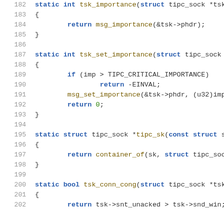[Figure (screenshot): Source code listing in C showing functions tsk_importance, tsk_set_importance, tipc_sk, and tsk_conn_cong with line numbers 182-202]